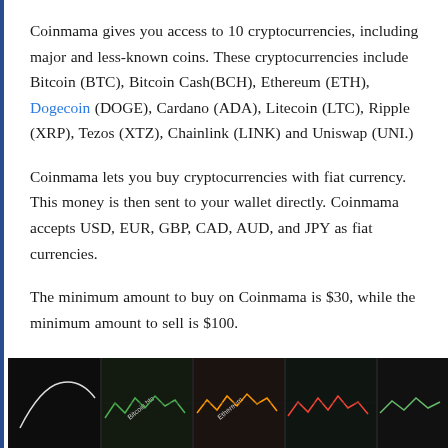Coinmama gives you access to 10 cryptocurrencies, including major and less-known coins. These cryptocurrencies include Bitcoin (BTC), Bitcoin Cash(BCH), Ethereum (ETH), Dogecoin (DOGE), Cardano (ADA), Litecoin (LTC), Ripple (XRP), Tezos (XTZ), Chainlink (LINK) and Uniswap (UNI.)
Coinmama lets you buy cryptocurrencies with fiat currency. This money is then sent to your wallet directly. Coinmama accepts USD, EUR, GBP, CAD, AUD, and JPY as fiat currencies.
The minimum amount to buy on Coinmama is $30, while the minimum amount to sell is $100.
Buy transaction fees can be as low as 2.38% or as high at 3.83%. Sell transaction fees range from 0.91% up to 1.87%.
[Figure (photo): Dark background image showing cryptocurrency trading charts/screens with colorful zigzag line charts (green, orange, red) visible on dark panels, suggesting crypto price tracking displays. Text labels including 'Bitcoin btc' and 'Ethereum' are partially visible.]